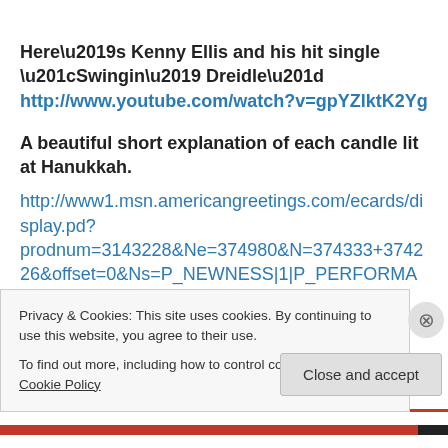Here’s Kenny Ellis and his hit single “Swingin’ Dreidle” http://www.youtube.com/watch?v=gpYZlktK2Yg
A beautiful short explanation of each candle lit at Hanukkah.
http://www1.msn.americangreetings.com/ecards/display.pd?
prodnum=3143228&Ne=374980&N=374333+374226&offset=0&Ns=P_NEWNESS|1|P_PERFORMANCE_NUMBER
Privacy & Cookies: This site uses cookies. By continuing to use this website, you agree to their use.
To find out more, including how to control cookies, see here: Cookie Policy
Close and accept